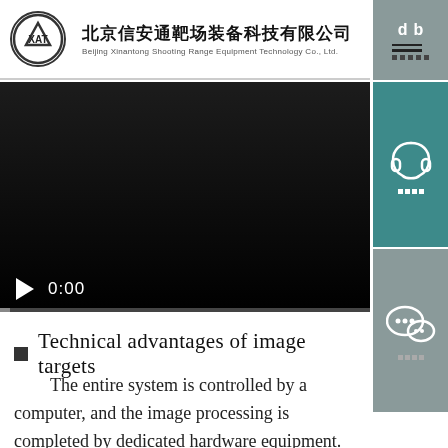[Figure (logo): Beijing Xinantong Shooting Range Equipment Technology Co., Ltd. company logo with circular XAT emblem and Chinese/English name]
[Figure (screenshot): Video player showing a dark/black video with play button and 0:00 timestamp, progress bar at bottom]
[Figure (infographic): Right sidebar with phone icon (teal background) showing contact label in Chinese, and WeChat icon (gray background) with WeChat label in Chinese]
Technical advantages of image targets
The entire system is controlled by a computer, and the image processing is completed by dedicated hardware equipment. The system is highly integrated